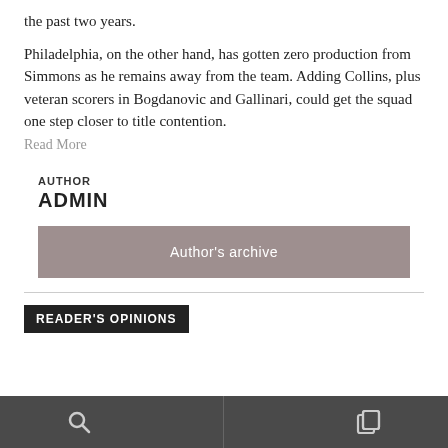the past two years.
Philadelphia, on the other hand, has gotten zero production from Simmons as he remains away from the team. Adding Collins, plus veteran scorers in Bogdanovic and Gallinari, could get the squad one step closer to title contention.
Read More
AUTHOR
ADMIN
Author's archive
READER'S OPINIONS